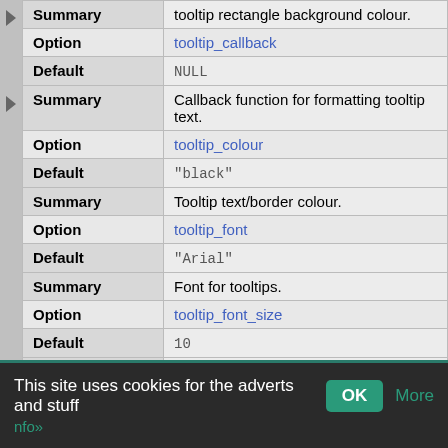| Label | Value |
| --- | --- |
| Summary | tooltip rectangle background colour. |
| Option | tooltip_callback |
| Default | NULL |
| Summary | Callback function for formatting tooltip text. |
| Option | tooltip_colour |
| Default | "black" |
| Summary | Tooltip text/border colour. |
| Option | tooltip_font |
| Default | "Arial" |
| Summary | Font for tooltips. |
| Option | tooltip_font_size |
| Default | 10 |
| Summary | Tooltip font size. |
This site uses cookies for the adverts and stuff   OK   More   nfo»